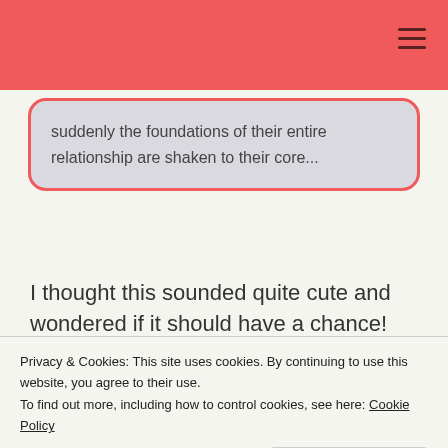suddenly the foundations of their entire relationship are shaken to their core...
I thought this sounded quite cute and wondered if it should have a chance!
Remember Me? by
[Figure (illustration): Book cover showing 'SOPHIE' in large brown text on a yellow background with decorative birds]
Privacy & Cookies: This site uses cookies. By continuing to use this website, you agree to their use. To find out more, including how to control cookies, see here: Cookie Policy
Close and accept